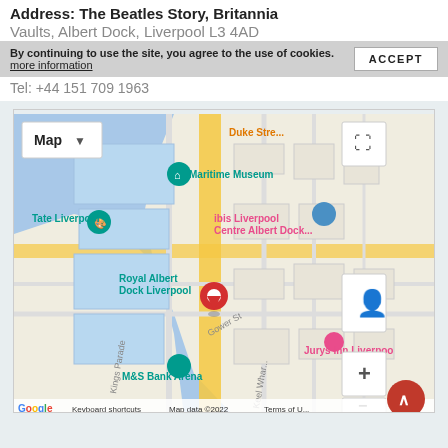Address: The Beatles Story, Britannia Vaults, Albert Dock, Liverpool L3 4AD
By continuing to use the site, you agree to the use of cookies. more information | ACCEPT
Tel: +44 151 709 1963
[Figure (map): Google Maps screenshot showing Royal Albert Dock Liverpool area. Landmarks labeled include Maritime Museum, Tate Liverpool, ibis Liverpool Centre Albert Dock, Royal Albert Dock Liverpool, Jurys Inn Liverpool, M&S Bank Arena. Map controls include Map dropdown, fullscreen, street view, zoom in/out. Bottom shows Google logo, Keyboard shortcuts, Map data ©2022, Terms of Use.]